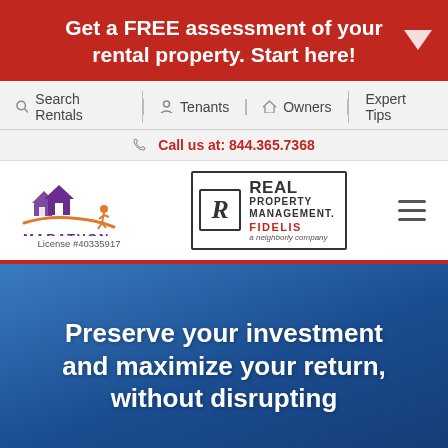Get a FREE assessment of your rental property. Start here!
Search Rentals | Tenants | Owners | Expert Tips
Call us at: 844.365.7368
[Figure (logo): Marathon Realty logo with purple house icons and orange swoosh, License #40335917]
[Figure (logo): Real Property Management Fidelis logo, a Neighborly company]
Preserve your investment and maximize your return, without disrupting